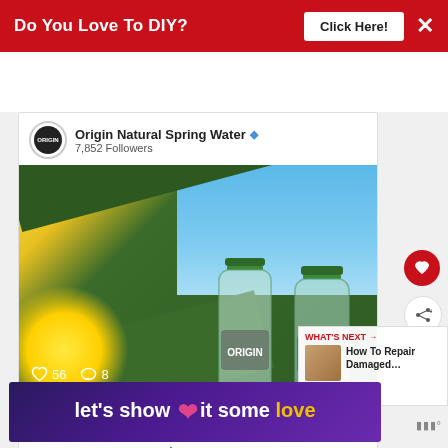[Figure (screenshot): Red advertisement banner at top: 'Do You Love To DIY?' with 'Click Here!' button and X close button on red background]
[Figure (screenshot): Social media post card from 'Origin Natural Spring Water' account with 7,852 followers showing two ORIGIN water bottles on a beach scene with green boards and sunshine. Shows 56 likes and 8 comments. Caption: 'originwater Midweek dreaming of the perfect beach day: 100% sunshine and ORIGIN Natural Sprin...' with Shop Now link.]
[Figure (screenshot): Bottom banner advertisement: 'let's show it some love' on purple/violet gradient background with pink heart icon and yellow 'love' text]